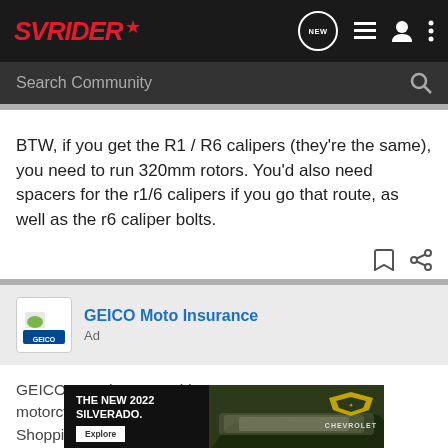SVRider (logo) — navigation bar with NEW, list, user, and more icons
Search Community
BTW, if you get the R1 / R6 calipers (they're the same), you need to run 320mm rotors. You'd also need spacers for the r1/6 calipers if you go that route, as well as the r6 caliper bolts.
[Figure (other): Bookmark and share action icons]
[Figure (other): GEICO Moto Insurance advertisement logo block]
GEICO Moto Insurance
Ad
GEICO. 15 minutes could save you 15% or more on motorcycle insurance.
Shopping around? Get a free quote & see how
[Figure (other): THE NEW 2022 SILVERADO. Explore — Chevrolet banner advertisement overlay]